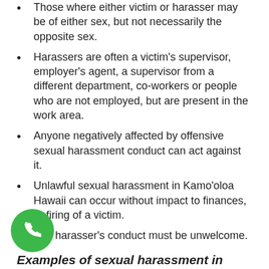Those where either victim or harasser may be of either sex, but not necessarily the opposite sex.
Harassers are often a victim's supervisor, employer's agent, a supervisor from a different department, co-workers or people who are not employed, but are present in the work area.
Anyone negatively affected by offensive sexual harassment conduct can act against it.
Unlawful sexual harassment in Kamo'oloa Hawaii can occur without impact to finances, or firing of a victim.
The harasser's conduct must be unwelcome.
Examples of sexual harassment in Kamo'oloa Hawaii.
1. Uninvited physical contact.
2. Sexual assault.
3. Displaying sexually explicit media, or objects.